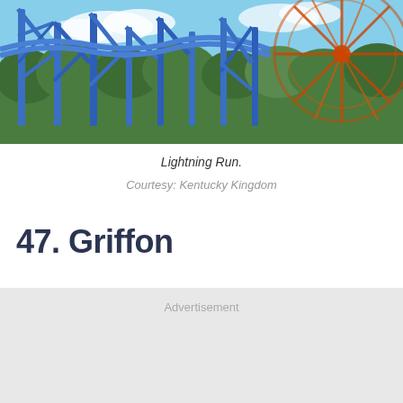[Figure (photo): Roller coaster track with blue and orange structures against a blue sky with green trees, Kentucky Kingdom amusement park]
Lightning Run.
Courtesy: Kentucky Kingdom
47. Griffon
Advertisement